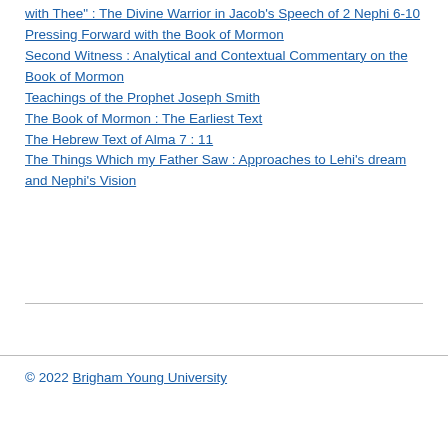with Thee" : The Divine Warrior in Jacob's Speech of 2 Nephi 6-10
Pressing Forward with the Book of Mormon
Second Witness : Analytical and Contextual Commentary on the Book of Mormon
Teachings of the Prophet Joseph Smith
The Book of Mormon : The Earliest Text
The Hebrew Text of Alma 7 : 11
The Things Which my Father Saw : Approaches to Lehi's dream and Nephi's Vision
© 2022 Brigham Young University